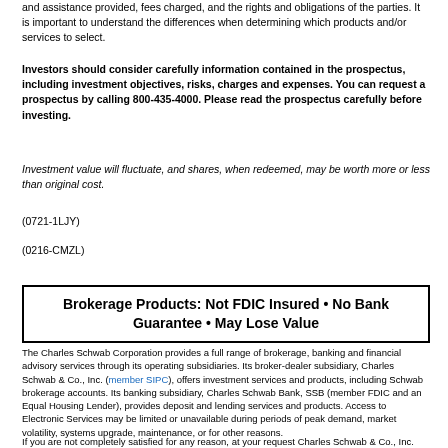and assistance provided, fees charged, and the rights and obligations of the parties. It is important to understand the differences when determining which products and/or services to select.
Investors should consider carefully information contained in the prospectus, including investment objectives, risks, charges and expenses. You can request a prospectus by calling 800-435-4000. Please read the prospectus carefully before investing.
Investment value will fluctuate, and shares, when redeemed, may be worth more or less than original cost.
(0721-1LJY)
(0216-CMZL)
Brokerage Products: Not FDIC Insured • No Bank Guarantee • May Lose Value
The Charles Schwab Corporation provides a full range of brokerage, banking and financial advisory services through its operating subsidiaries. Its broker-dealer subsidiary, Charles Schwab & Co., Inc. (member SIPC), offers investment services and products, including Schwab brokerage accounts. Its banking subsidiary, Charles Schwab Bank, SSB (member FDIC and an Equal Housing Lender), provides deposit and lending services and products. Access to Electronic Services may be limited or unavailable during periods of peak demand, market volatility, systems upgrade, maintenance, or for other reasons.
If you are not completely satisfied for any reason, at your request Charles Schwab & Co., Inc.